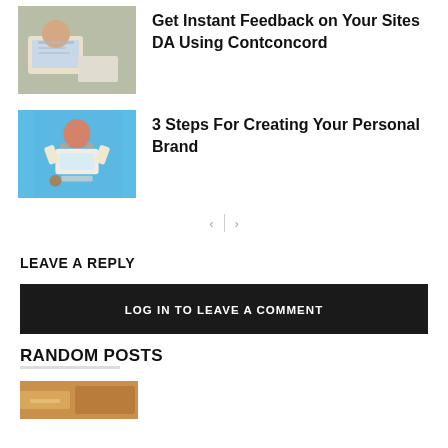[Figure (photo): Person working on a laptop at a desk with papers]
Get Instant Feedback on Your Sites DA Using Contconcord
[Figure (photo): Woman in a blue background celebrating with arms raised, sitting at a laptop]
3 Steps For Creating Your Personal Brand
< | >
LEAVE A REPLY
LOG IN TO LEAVE A COMMENT
RANDOM POSTS
[Figure (photo): Partial thumbnail image visible at bottom]